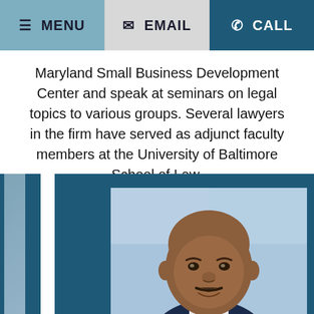MENU | EMAIL | CALL
Maryland Small Business Development Center and speak at seminars on legal topics to various groups. Several lawyers in the firm have served as adjunct faculty members at the University of Baltimore School of Law.
[Figure (photo): Professional headshot of a middle-aged Black man with a mustache, wearing a suit, photographed against a light blue background. Displayed within a teal/dark blue framed layout.]